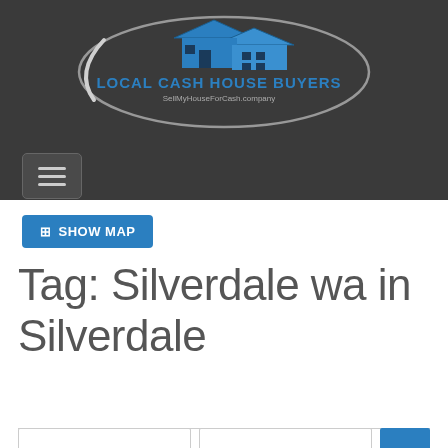[Figure (logo): Local Cash House Buyers logo with house illustration, swoosh design, and text 'LOCAL CASH HOUSE BUYERS' and 'SellMyHouseForCash.company' on dark background]
[Figure (other): Hamburger menu button with three horizontal lines on dark background]
🗺 SHOW MAP
Tag: Silverdale wa in Silverdale